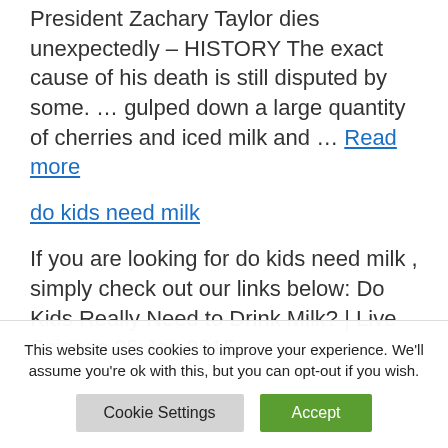President Zachary Taylor dies unexpectedly – HISTORY The exact cause of his death is still disputed by some. … gulped down a large quantity of cherries and iced milk and … Read more
do kids need milk
If you are looking for do kids need milk , simply check out our links below: Do Kids Really Need to Drink Milk? | Live Science 25 Jan 2015
This website uses cookies to improve your experience. We'll assume you're ok with this, but you can opt-out if you wish.